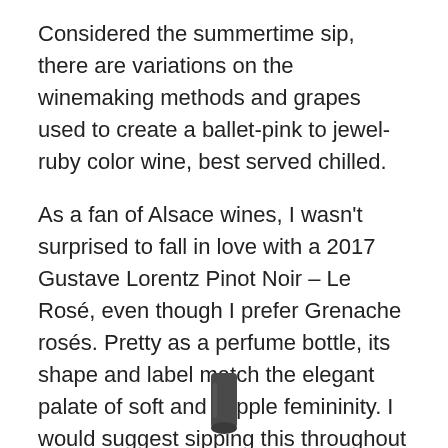Considered the summertime sip, there are variations on the winemaking methods and grapes used to create a ballet-pink to jewel-ruby color wine, best served chilled.
As a fan of Alsace wines, I wasn't surprised to fall in love with a 2017 Gustave Lorentz Pinot Noir – Le Rosé, even though I prefer Grenache rosés. Pretty as a perfume bottle, its shape and label match the elegant palate of soft and supple femininity. I would suggest sipping this throughout summer, and stocking up isn't going to break the bank, either. Depending on where you purchase this wine, it ranges from $13 up to $19.99 per bottle. It also pairs well with barbecue, roasted meats salads, light cheeses, non-spicy Chinese, Vietnamese, Thai and Indian foods. Win-win.
[Figure (photo): Bottom portion of a wine bottle visible at the bottom center of the page]